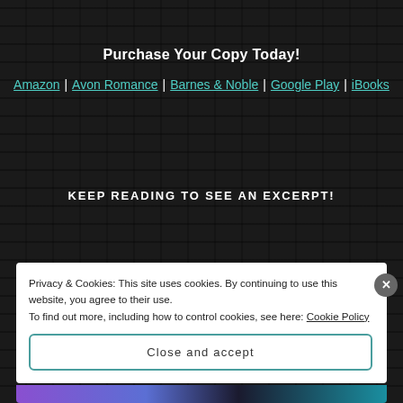Purchase Your Copy Today!
Amazon | Avon Romance | Barnes & Noble | Google Play | iBooks
KEEP READING TO SEE AN EXCERPT!
Privacy & Cookies: This site uses cookies. By continuing to use this website, you agree to their use.
To find out more, including how to control cookies, see here: Cookie Policy
Close and accept